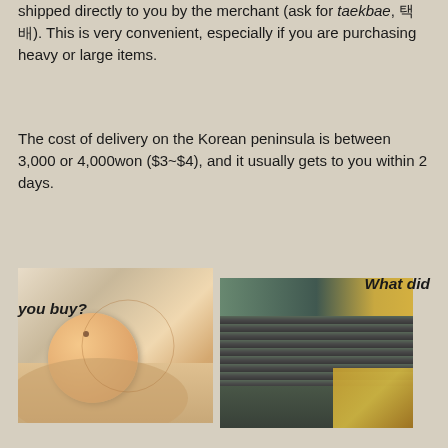shipped directly to you by the merchant (ask for taekbae, 택배). This is very convenient, especially if you are purchasing heavy or large items.
The cost of delivery on the Korean peninsula is between 3,000 or 4,000won ($3~$4), and it usually gets to you within 2 days.
[Figure (photo): Two photos side by side: left photo shows a hand holding a small round wooden bead/disc with a hole; right photo shows various merchandise items including dark metal strips/clips and gold-colored keychains/rings in plastic packaging.]
What did you buy?